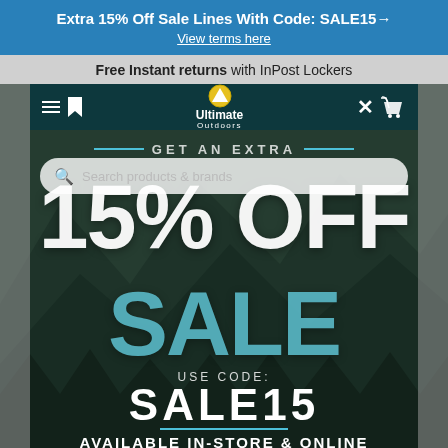Extra 15% Off Sale Lines With Code: SALE15→
View terms here
Free Instant returns with InPost Lockers
[Figure (screenshot): Screenshot of Ultimate Outdoors website showing a promotional banner for 15% off sale items using code SALE15, available in-store and online. Features mountain landscape background, navigation bar with logo, search bar, and large promotional text.]